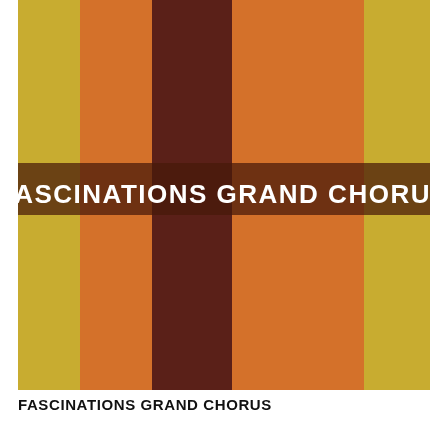[Figure (illustration): Album cover for 'Fascinations Grand Chorus' featuring vertical colored stripes in yellow-green, orange, dark brown/maroon, orange, and yellow-green from left to right. The band name 'FASCINATIONS GRAND CHORUS' is displayed in white retro lettering with a dark brown background strip across the horizontal center of the image.]
FASCINATIONS GRAND CHORUS